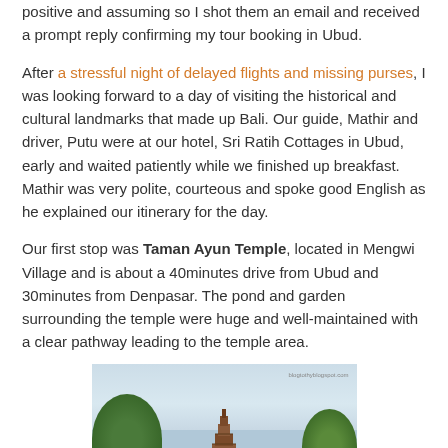positive and assuming so I shot them an email and received a prompt reply confirming my tour booking in Ubud.
After a stressful night of delayed flights and missing purses, I was looking forward to a day of visiting the historical and cultural landmarks that made up Bali. Our guide, Mathir and driver, Putu were at our hotel, Sri Ratih Cottages in Ubud, early and waited patiently while we finished up breakfast. Mathir was very polite, courteous and spoke good English as he explained our itinerary for the day.
Our first stop was Taman Ayun Temple, located in Mengwi Village and is about a 40minutes drive from Ubud and 30minutes from Denpasar. The pond and garden surrounding the temple were huge and well-maintained with a clear pathway leading to the temple area.
[Figure (photo): Photo of Taman Ayun Temple with trees on either side and a cloudy sky in the background. A watermark reads 'blogtothyblogspot.com'.]